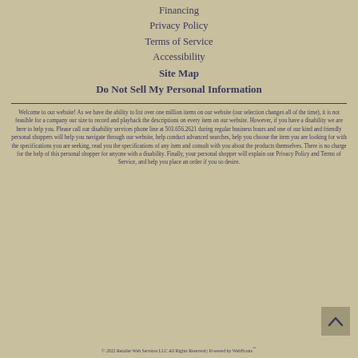Financing
Privacy Policy
Terms of Service
Accessibility
Site Map
Do Not Sell My Personal Information
Welcome to our website! As we have the ability to list over one million items on our website (our selection changes all of the time), it is not feasible for a company our size to record and playback the descriptions on every item on our website. However, if you have a disability we are here to help you. Please call our disability services phone line at 503.656.2621 during regular business hours and one of our kind and friendly personal shoppers will help you navigate through our website, help conduct advanced searches, help you choose the item you are looking for with the specifications you are seeking, read you the specifications of any item and consult with you about the products themselves. There is no charge for the help of this personal shopper for anyone with a disability. Finally, your personal shopper will explain our Privacy Policy and Terms of Service, and help you place an order if you so desire.
© 2022 Retailer Web Services LLC All Rights Reserved | Powered by WebFronts℠